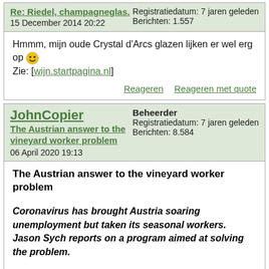Re: Riedel, champagneglas.
15 December 2014 20:22
Registratiedatum: 7 jaren geleden
Berichten: 1.557
Hmmm, mijn oude Crystal d'Arcs glazen lijken er wel erg op 😎
Zie: [wijn.startpagina.nl]
Reageren   Reageren met quote
JohnCopier
The Austrian answer to the vineyard worker problem
06 April 2020 19:13
Beheerder
Registratiedatum: 7 jaren geleden
Berichten: 8.584
The Austrian answer to the vineyard worker problem

Coronavirus has brought Austria soaring unemployment but taken its seasonal workers. Jason Sych reports on a program aimed at solving the problem.

[www.wine-business-international.com]